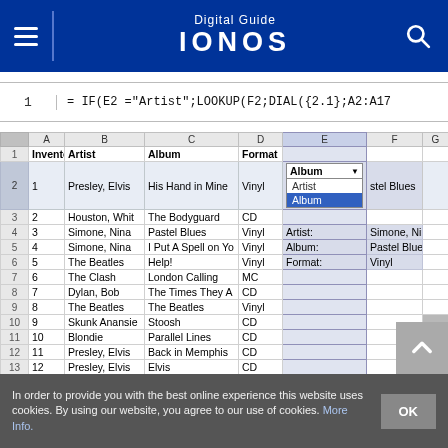Digital Guide IONOS
[Figure (screenshot): Spreadsheet screenshot showing a music inventory table with columns: Inventory No., Artist, Album, Format. Rows include Elvis Presley, Whitney Houston, Nina Simone, The Beatles, The Clash, Bob Dylan, Skunk Anansie, Blondie. Column E shows a dropdown with 'Artist' and 'Album' options, 'Album' selected. An info panel shows Artist: Simone, Nina; Album: Pastel Blues; Format: Vinyl.]
In order to provide you with the best online experience this website uses cookies. By using our website, you agree to our use of cookies. More Info.